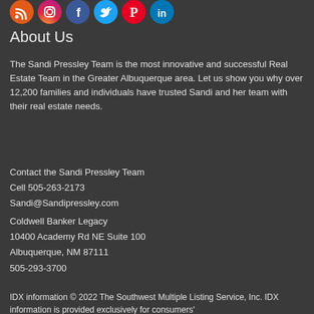[Figure (other): Social media icons row: RSS (orange), Instagram (gradient), Facebook (blue), Twitter (light blue), Pinterest (red), LinkedIn (blue)]
About Us
The Sandi Pressley Team is the most innovative and successful Real Estate Team in the Greater Albuquerque area. Let us show you why over 12,200 families and individuals have trusted Sandi and her team with their real estate needs.
Contact the Sandi Pressley Team
Cell 505-263-2173
Sandi@Sandipressley.com
Coldwell Banker Legacy
10400 Academy Rd NE Suite 100
Albuquerque, NM 87111
505-293-3700
IDX information © 2022 The Southwest Multiple Listing Service, Inc. IDX information is provided exclusively for consumers'